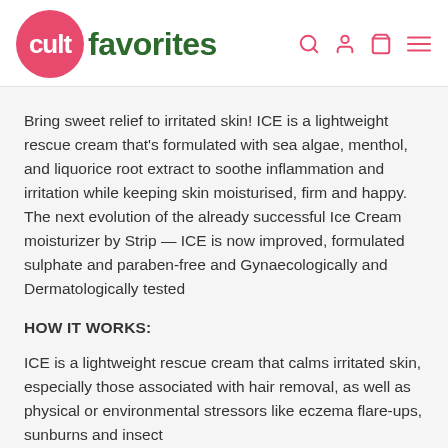cult favorites
Bring sweet relief to irritated skin! ICE is a lightweight rescue cream that's formulated with sea algae, menthol, and liquorice root extract to soothe inflammation and irritation while keeping skin moisturised, firm and happy. The next evolution of the already successful Ice Cream moisturizer by Strip — ICE is now improved, formulated sulphate and paraben-free and Gynaecologically and Dermatologically tested
HOW IT WORKS:
ICE is a lightweight rescue cream that calms irritated skin, especially those associated with hair removal, as well as physical or environmental stressors like eczema flare-ups, sunburns and insect